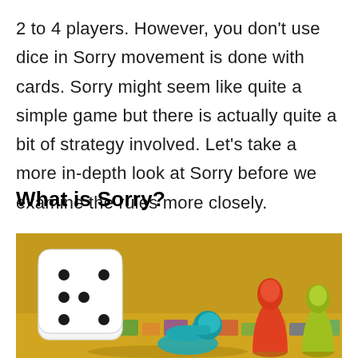2 to 4 players. However, you don't use dice in Sorry movement is done with cards. Sorry might seem like quite a simple game but there is actually quite a bit of strategy involved. Let's take a more in-depth look at Sorry before we examine the rules more closely.
What is Sorry?
[Figure (photo): A board game scene showing a white die, teal/cyan game pawn lying on its side, an orange game pawn, and a yellow-green game pawn standing upright, on a colorful Sorry board game background with yellow and multicolored squares visible.]